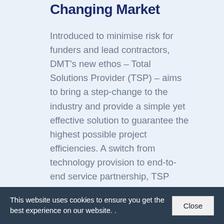Changing Market
Introduced to minimise risk for funders and lead contractors, DMT's new ethos – Total Solutions Provider (TSP) – aims to bring a step-change to the industry and provide a simple yet effective solution to guarantee the highest possible project efficiencies. A switch from technology provision to end-to-end service partnership, TSP supports the customer from the moment biogas leaves the digester to when it's
This website uses cookies to ensure you get the best experience on our website. .